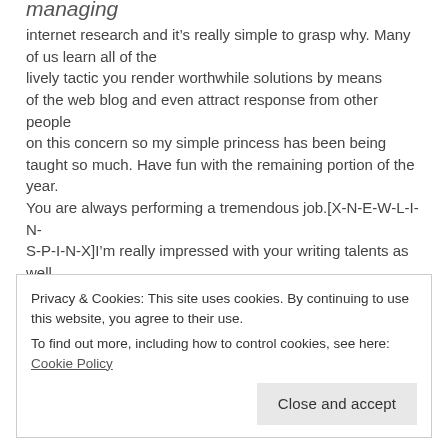managing internet research and it's really simple to grasp why. Many of us learn all of the lively tactic you render worthwhile solutions by means of the web blog and even attract response from other people on this concern so my simple princess has been being taught so much. Have fun with the remaining portion of the year.
You are always performing a tremendous job.[X-N-E-W-L-I-N-S-P-I-N-X]I'm really impressed with your writing talents as well as with the format to your weblog. Is this a paid theme or did you modify it your self?
Privacy & Cookies: This site uses cookies. By continuing to use this website, you agree to their use.
To find out more, including how to control cookies, see here: Cookie Policy